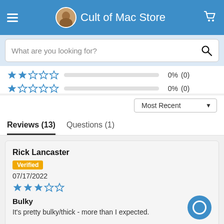Cult of Mac Store
What are you looking for?
★★☆☆☆  0%  (0)
★☆☆☆☆  0%  (0)
Most Recent
Reviews (13)   Questions (1)
Rick Lancaster
Verified
07/17/2022
★★★☆☆
Bulky
It's pretty bulky/thick - more than I expected.